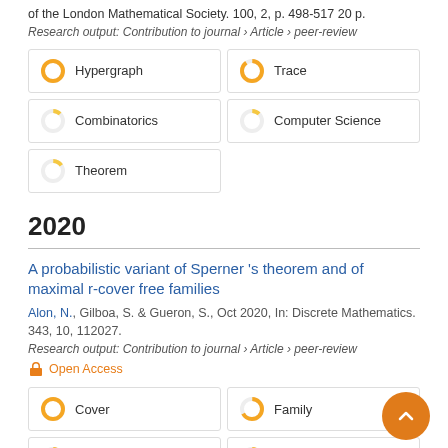of the London Mathematical Society. 100, 2, p. 498-517 20 p.
Research output: Contribution to journal › Article › peer-review
[Figure (infographic): Keyword boxes with donut charts: Hypergraph (100%), Trace (90%), Combinatorics (12%), Computer Science (12%), Theorem (15%)]
2020
A probabilistic variant of Sperner 's theorem and of maximal r-cover free families
Alon, N., Gilboa, S. & Gueron, S., Oct 2020, In: Discrete Mathematics. 343, 10, 112027.
Research output: Contribution to journal › Article › peer-review
Open Access
[Figure (infographic): Keyword boxes with donut charts: Cover (100%), Family (67%), Theorem (50%), Cardinality (50%)]